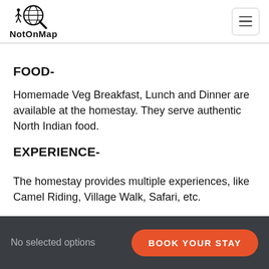[Figure (logo): NotOnMap logo with globe and magnifying glass icon and person silhouette, with text 'NotOnMap' below]
FOOD-
Homemade Veg Breakfast, Lunch and Dinner are available at the homestay. They serve authentic North Indian food.
EXPERIENCE-
The homestay provides multiple experiences, like Camel Riding, Village Walk, Safari, etc.
No selected options | BOOK YOUR STAY